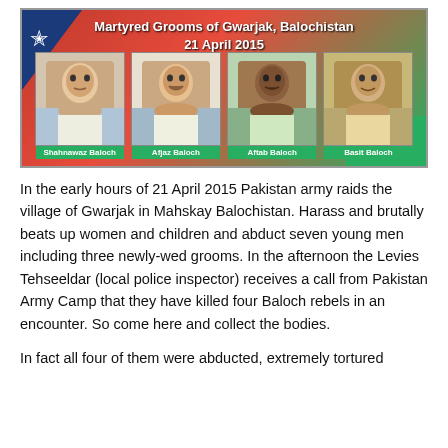[Figure (photo): Composite image with red and green background featuring photos of four men labeled as martyred grooms. Title reads 'Martyred Grooms of Gwarjak, Balochistan 21 April 2015'. Names: Shahnawaz Baloch, Afjaz Baloch, Aftab Baloch, Basit Baloch.]
In the early hours of 21 April 2015 Pakistan army raids the village of Gwarjak in Mahskay Balochistan. Harass and brutally beats up women and children and abduct seven young men including three newly-wed grooms. In the afternoon the Levies Tehseeldar (local police inspector) receives a call from Pakistan Army Camp that they have killed four Baloch rebels in an encounter. So come here and collect the bodies.
In fact all four of them were abducted, extremely tortured